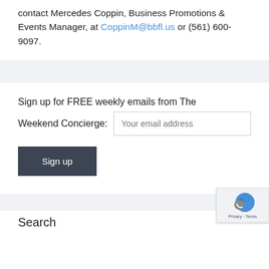contact Mercedes Coppin, Business Promotions & Events Manager, at CoppinM@bbfl.us or (561) 600-9097.
Sign up for FREE weekly emails from The Weekend Concierge:
[Figure (screenshot): Email input field with placeholder text 'Your email address' and a dark gray 'Sign up' button below]
[Figure (logo): reCAPTCHA badge with blue icon and 'Privacy - Terms' text]
Search